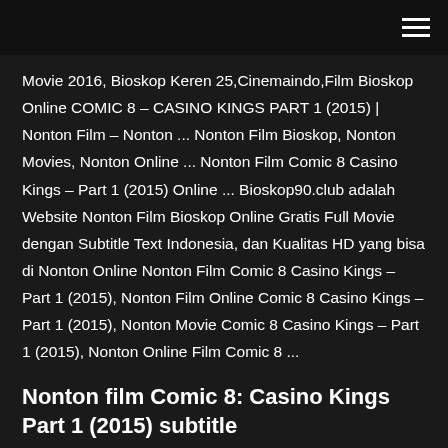[navigation bar with hamburger menu]
Movie 2016, Bioskop Keren 25,Cinemaindo,Film Bioskop Online COMIC 8 – CASINO KINGS PART 1 (2015) | Nonton Film – Nonton ... Nonton Film Bioskop, Nonton Movies, Nonton Online ... Nonton Film Comic 8 Casino Kings – Part 1 (2015) Online ... Bioskop90.club adalah Website Nonton Film Bioskop Online Gratis Full Movie dengan Subtitle Text Indonesia, dan Kualitas HD yang bisa di Nonton Online Nonton Film Comic 8 Casino Kings – Part 1 (2015), Nonton Film Online Comic 8 Casino Kings – Part 1 (2015), Nonton Movie Comic 8 Casino Kings – Part 1 (2015), Nonton Online Film Comic 8 ...
Nonton film Comic 8: Casino Kings Part 1 (2015) subtitle